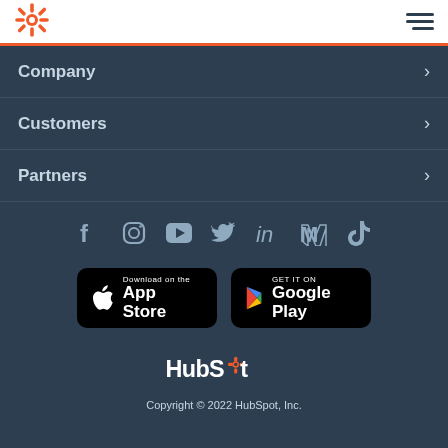HubSpot navigation header with logo and hamburger menu
Company >
Customers >
Partners >
[Figure (infographic): Social media icons row: Facebook, Instagram, YouTube, Twitter, LinkedIn, Medium, TikTok]
[Figure (infographic): App store download buttons: Download on the App Store, GET IT ON Google Play]
[Figure (logo): HubSpot wordmark logo in white]
Copyright © 2022 HubSpot, Inc.